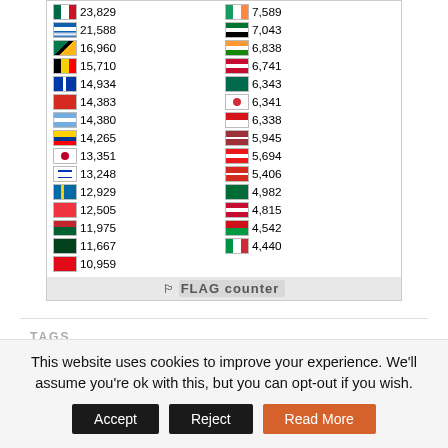[Figure (infographic): Flag counter widget showing country flags with visitor counts in two columns. Left column: Mexico 23,829; Greece 21,588; South Africa 16,960; Belgium 15,710; Philippines 14,934; Switzerland 14,383; Argentina 14,380; Ecuador 14,265; Japan 13,351; Israel 13,248; Sweden 12,929; Singapore 12,505; Morocco 11,975; Pakistan 11,667; Turkey 10,959. Right column: Ireland 7,589; UAE 7,043; India 6,838; Denmark 6,741; Bangladesh 6,343; South Korea 6,341; Czech Republic 6,338; Latvia 5,945; Georgia 5,694; Chile 5,406; Saudi Arabia 4,982; Denmark 4,815; Belarus 4,542; Italy 4,440. Footer shows FLAG counter logo.]
TAGS
This website uses cookies to improve your experience. We'll assume you're ok with this, but you can opt-out if you wish.
Accept | Reject | Read More